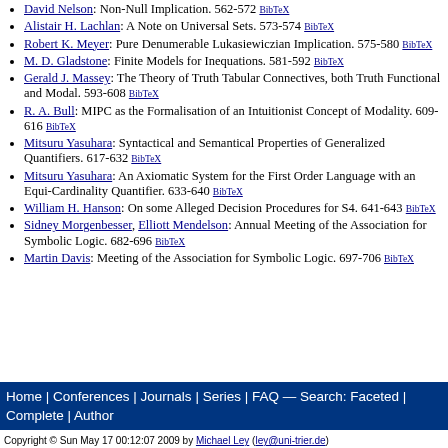David Nelson: Non-Null Implication. 562-572 BibTeX
Alistair H. Lachlan: A Note on Universal Sets. 573-574 BibTeX
Robert K. Meyer: Pure Denumerable Lukasiewiczian Implication. 575-580 BibTeX
M. D. Gladstone: Finite Models for Inequations. 581-592 BibTeX
Gerald J. Massey: The Theory of Truth Tabular Connectives, both Truth Functional and Modal. 593-608 BibTeX
R. A. Bull: MIPC as the Formalisation of an Intuitionist Concept of Modality. 609-616 BibTeX
Mitsuru Yasuhara: Syntactical and Semantical Properties of Generalized Quantifiers. 617-632 BibTeX
Mitsuru Yasuhara: An Axiomatic System for the First Order Language with an Equi-Cardinality Quantifier. 633-640 BibTeX
William H. Hanson: On some Alleged Decision Procedures for S4. 641-643 BibTeX
Sidney Morgenbesser, Elliott Mendelson: Annual Meeting of the Association for Symbolic Logic. 682-696 BibTeX
Martin Davis: Meeting of the Association for Symbolic Logic. 697-706 BibTeX
Home | Conferences | Journals | Series | FAQ — Search: Faceted | Complete | Author
Copyright © Sun May 17 00:12:07 2009 by Michael Ley (ley@uni-trier.de)